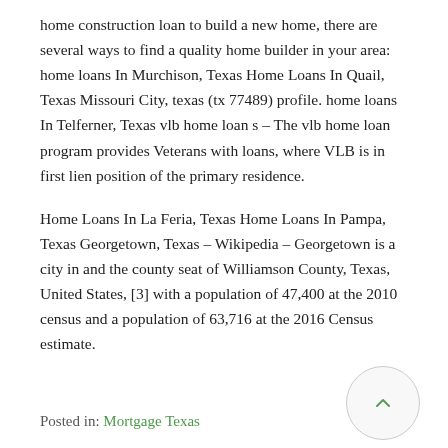home construction loan to build a new home, there are several ways to find a quality home builder in your area: home loans In Murchison, Texas Home Loans In Quail, Texas Missouri City, texas (tx 77489) profile. home loans In Telferner, Texas vlb home loan s – The vlb home loan program provides Veterans with loans, where VLB is in first lien position of the primary residence.
Home Loans In La Feria, Texas Home Loans In Pampa, Texas Georgetown, Texas – Wikipedia – Georgetown is a city in and the county seat of Williamson County, Texas, United States, [3] with a population of 47,400 at the 2010 census and a population of 63,716 at the 2016 Census estimate.
Posted in: Mortgage Texas